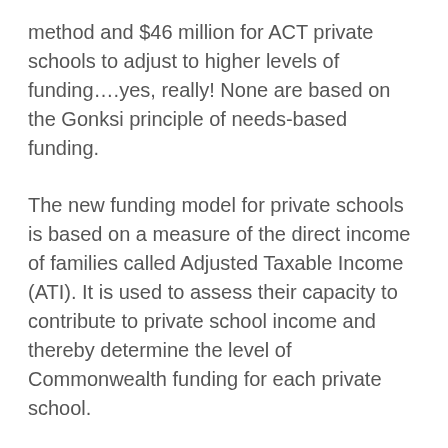method and $46 million for ACT private schools to adjust to higher levels of funding....yes, really! None are based on the Gonksi principle of needs-based funding.
The new funding model for private schools is based on a measure of the direct income of families called Adjusted Taxable Income (ATI). It is used to assess their capacity to contribute to private school income and thereby determine the level of Commonwealth funding for each private school.
However, ATI is a deeply flawed measure that will result in massive over-funding of private schools because it ignores several sources of family and school income as well as family and school